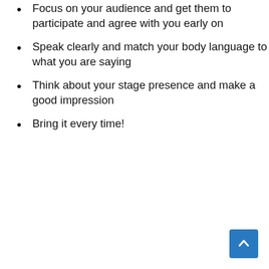Focus on your audience and get them to participate and agree with you early on
Speak clearly and match your body language to what you are saying
Think about your stage presence and make a good impression
Bring it every time!